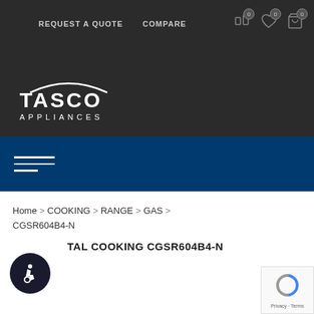REQUEST A QUOTE   COMPARE   0   0   0
[Figure (logo): Tasco Appliances logo with arc above text, white on dark background]
[Figure (infographic): Navy blue banner with hamburger menu icon (three horizontal lines)]
Home > COOKING > RANGE > GAS > CGSR604B4-N
CAPITAL COOKING CGSR604B4-N
[Figure (illustration): Accessibility wheelchair icon in dark circular button]
[Figure (illustration): reCAPTCHA widget showing spinning logo and Privacy - Terms text]